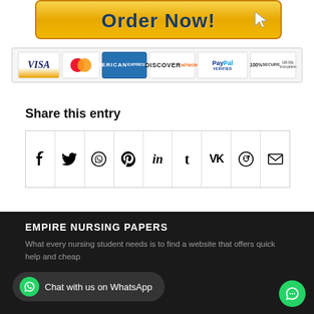[Figure (other): Order Now button with golden gradient background and cursor icon]
[Figure (other): Payment icons row: VISA, MasterCard, American Express, Discover, PayPal Verified, 100% Secure SSL Encryption]
Share this entry
[Figure (other): Social share icon grid with 9 icons: Facebook, Twitter, WhatsApp, Pinterest, LinkedIn, Tumblr, VK, Reddit, Email]
EMPIRE NURSING PAPERS
What every nursing student needs is to find a website that offers quick help and cheap
[Figure (other): WhatsApp chat button bar: Chat with us on WhatsApp]
[Figure (other): Green chat bubble button bottom right]